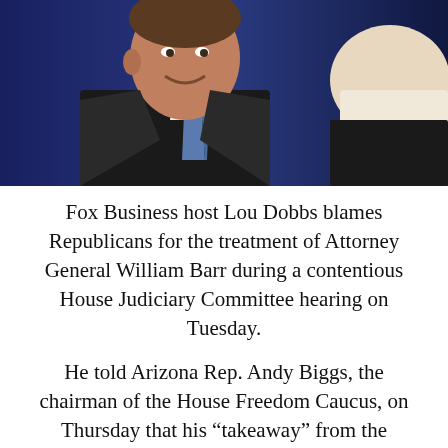[Figure (photo): Photo of Fox Business host Lou Dobbs in a suit and tie speaking with another person whose back is to the camera, against a blue studio background.]
Fox Business host Lou Dobbs blames Republicans for the treatment of Attorney General William Barr during a contentious House Judiciary Committee hearing on Tuesday.
He told Arizona Rep. Andy Biggs, the chairman of the House Freedom Caucus, on Thursday that his “takeaway” from the oversight hearing, in which Democrats